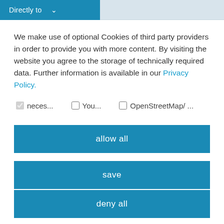Directly to
We make use of optional Cookies of third party providers in order to provide you with more content. By visiting the website you agree to the storage of technically required data. Further information is available in our Privacy Policy.
neces... You... OpenStreetMap/ ...
allow all
save
deny all